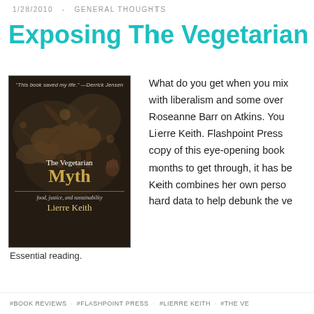1/28/2010  -  GENERAL THOUGHTS
Exposing The Vegetarian Myt
[Figure (photo): Book cover of 'The Vegetarian Myth: food, justice, and sustainability' by Lierre Keith, published by Flashpoint Press. Dark cover featuring cave art paintings of animals. Quote at top: 'This book saved my life.' —Derrick Jensen]
Essential reading.
What do you get when you mix with liberalism and some over Roseanne Barr on Atkins. You Lierre Keith. Flashpoint Press copy of this eye-opening book months to get through, it has be Keith combines her own perso hard data to help debunk the ve
#BOOK REVIEWS   #FLASHPOINT PRESS   #LIERRE KEITH   #THE VE